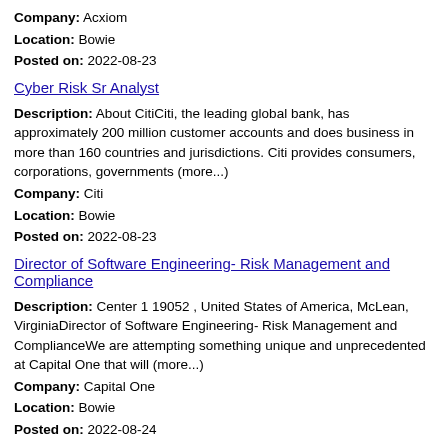Company: Acxiom
Location: Bowie
Posted on: 2022-08-23
Cyber Risk Sr Analyst
Description: About CitiCiti, the leading global bank, has approximately 200 million customer accounts and does business in more than 160 countries and jurisdictions. Citi provides consumers, corporations, governments (more...)
Company: Citi
Location: Bowie
Posted on: 2022-08-23
Director of Software Engineering- Risk Management and Compliance
Description: Center 1 19052 , United States of America, McLean, VirginiaDirector of Software Engineering- Risk Management and ComplianceWe are attempting something unique and unprecedented at Capital One that will (more...)
Company: Capital One
Location: Bowie
Posted on: 2022-08-24
Food Safety and Quality Assurance Technician- Sysco
Description: Company: br US1354 Buckhead Meat Seafood Mid-Atlantic br br Zip Code: br 20785 br br Minimum Years of Experience: br 3 Years br br Employment Type: br Full Time br br